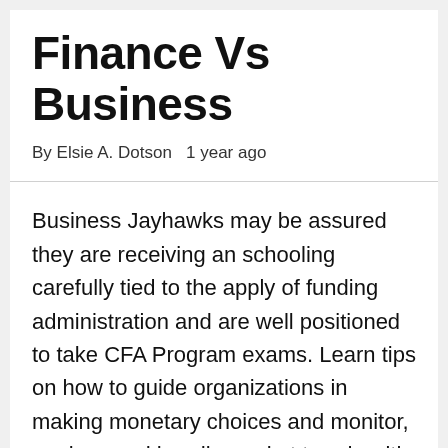Finance Vs Business
By Elsie A. Dotson   1 year ago
Business Jayhawks may be assured they are receiving an schooling carefully tied to the apply of funding administration and are well positioned to take CFA Program exams. Learn tips on how to guide organizations in making monetary choices and monitor, analyze and handle market trends with a level in finance. Launched in 2017, the Business and Finance Career Community prese an revolutionary method to career growth.